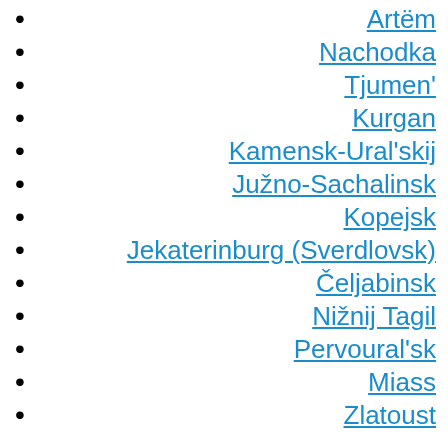Artëm
Nachodka
Tjumen'
Kurgan
Kamensk-Ural'skij
Južno-Sachalinsk
Kopejsk
Jekaterinburg (Sverdlovsk)
Čeljabinsk
Nižnij Tagil
Pervoural'sk
Miass
Zlatoust